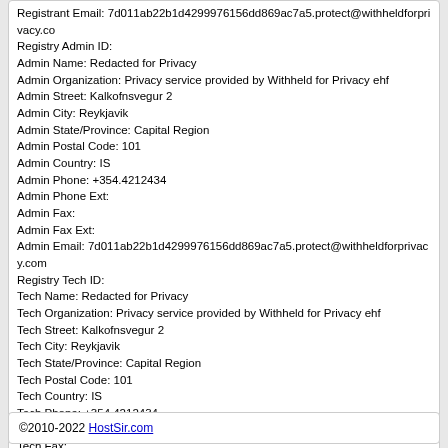Registrant Email: 7d011ab22b1d4299976156dd869ac7a5.protect@withheldforprivacy.com Registry Admin ID: Admin Name: Redacted for Privacy Admin Organization: Privacy service provided by Withheld for Privacy ehf Admin Street: Kalkofnsvegur 2 Admin City: Reykjavik Admin State/Province: Capital Region Admin Postal Code: 101 Admin Country: IS Admin Phone: +354.4212434 Admin Phone Ext: Admin Fax: Admin Fax Ext: Admin Email: 7d011ab22b1d4299976156dd869ac7a5.protect@withheldforprivacy.com Registry Tech ID: Tech Name: Redacted for Privacy Tech Organization: Privacy service provided by Withheld for Privacy ehf Tech Street: Kalkofnsvegur 2 Tech City: Reykjavik Tech State/Province: Capital Region Tech Postal Code: 101 Tech Country: IS Tech Phone: +354.4212434 Tech Phone Ext: Tech Fax: Tech Fax Ext: Tech Email: 7d011ab22b1d4299976156dd869ac7a5.protect@withheldforprivacy.com Name Server: jaziel.ns.cloudflare.com Name Server: kami.ns.cloudflare.com DNSSEC: unsigned URL of the ICANN WHOIS Data Problem Reporting System: http://wdprs.internic.net/ >>> Last update of WHOIS database: 2022-08-19T21:28:50.81Z <<< For more information on Whois status codes, please visit https://icann.org/epp
©2010-2022 HostSir.com